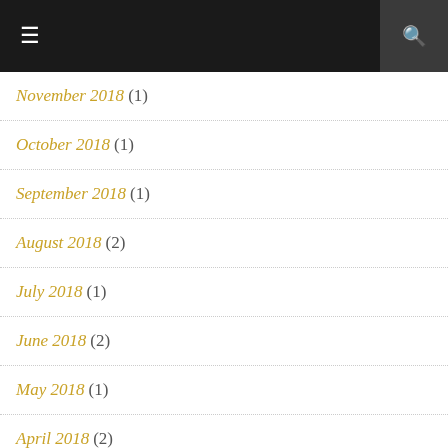≡  🔍
November 2018 (1)
October 2018 (1)
September 2018 (1)
August 2018 (2)
July 2018 (1)
June 2018 (2)
May 2018 (1)
April 2018 (2)
March 2018 (1)
February 2018 (1)
January 2018 (1)
December 2017 (2)
October 2017 (1)